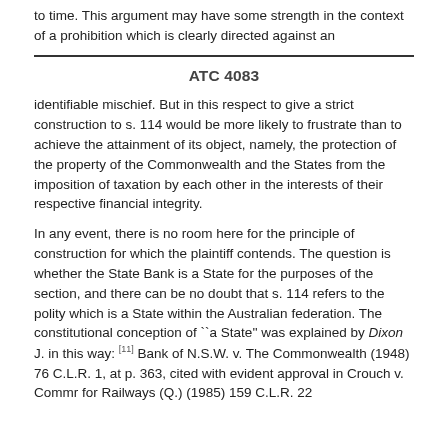to time. This argument may have some strength in the context of a prohibition which is clearly directed against an
ATC 4083
identifiable mischief. But in this respect to give a strict construction to s. 114 would be more likely to frustrate than to achieve the attainment of its object, namely, the protection of the property of the Commonwealth and the States from the imposition of taxation by each other in the interests of their respective financial integrity.
In any event, there is no room here for the principle of construction for which the plaintiff contends. The question is whether the State Bank is a State for the purposes of the section, and there can be no doubt that s. 114 refers to the polity which is a State within the Australian federation. The constitutional conception of ``a State'' was explained by Dixon J. in this way: [11] Bank of N.S.W. v. The Commonwealth (1948) 76 C.L.R. 1, at p. 363, cited with evident approval in Crouch v. Commr for Railways (Q.) (1985) 159 C.L.R. 22